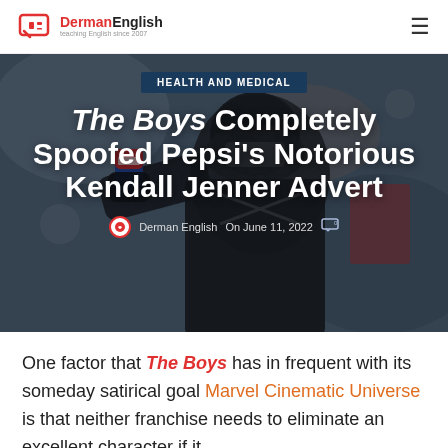DermanEnglish — teaching English since 2007
[Figure (photo): A person in dark tactical gear and helmet drinking from a blue and red energy drink can, dark blurred background. Overlay text shows article title and metadata.]
HEALTH AND MEDICAL
The Boys Completely Spoofed Pepsi's Notorious Kendall Jenner Advert
Derman English  On June 11, 2022  [comment icon 0]
One factor that The Boys has in frequent with its someday satirical goal Marvel Cinematic Universe is that neither franchise needs to eliminate an excellent character if it